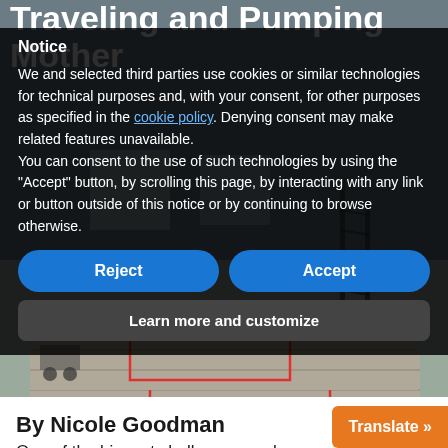Traveling and Pumping Mother
Notice
We and selected third parties use cookies or similar technologies for technical purposes and, with your consent, for other purposes as specified in the cookie policy. Denying consent may make related features unavailable.
You can consent to the use of such technologies by using the “Accept” button, by scrolling this page, by interacting with any link or button outside of this notice or by continuing to browse otherwise.
Reject
Accept
Learn more and customize
[Figure (photo): Warehouse or industrial interior with wooden floors and equipment in the background]
By Nicole Goodman
One of the biggest challenges work...
Translate »